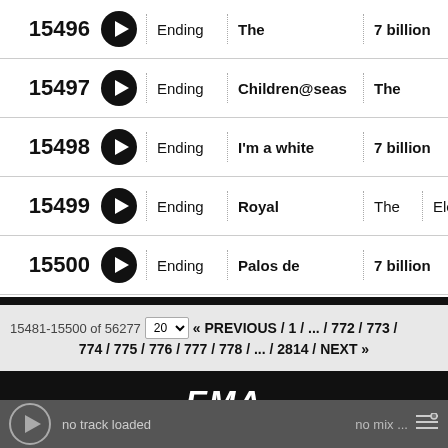| # |  | Type | Title | Mix/Label |
| --- | --- | --- | --- | --- |
| 15496 | ▶ | Ending | The | 7 billion |
| 15497 | ▶ | Ending | Children@seas | The |
| 15498 | ▶ | Ending | I'm a white | 7 billion |
| 15499 | ▶ | Ending | Royal | The | Electr |
| 15500 | ▶ | Ending | Palos de | 7 billion |
15481-15500 of 56277   20 ▾   « PREVIOUS / 1 / ... / 772 / 773 / 774 / 775 / 776 / 777 / 778 / ... / 2814 / NEXT »
[Figure (screenshot): EMA banner — black background with white italic bold text 'EMA']
no track loaded   no mix ...